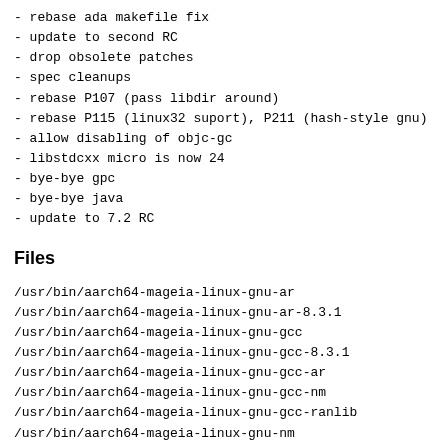- rebase ada makefile fix
- update to second RC
- drop obsolete patches
- spec cleanups
- rebase P107 (pass libdir around)
- rebase P115 (linux32 suport), P211 (hash-style gnu)
- allow disabling of objc-gc
- libstdcxx micro is now 24
- bye-bye gpc
- bye-bye java
- update to 7.2 RC
Files
/usr/bin/aarch64-mageia-linux-gnu-ar
/usr/bin/aarch64-mageia-linux-gnu-ar-8.3.1
/usr/bin/aarch64-mageia-linux-gnu-gcc
/usr/bin/aarch64-mageia-linux-gnu-gcc-8.3.1
/usr/bin/aarch64-mageia-linux-gnu-gcc-ar
/usr/bin/aarch64-mageia-linux-gnu-gcc-nm
/usr/bin/aarch64-mageia-linux-gnu-gcc-ranlib
/usr/bin/aarch64-mageia-linux-gnu-nm
/usr/bin/aarch64-mageia-linux-gnu-nm-8.3.1
/usr/bin/aarch64-mageia-linux-gnu-ranlib
/usr/bin/aarch64-mageia-linux-gnu-ranlib-8.3.1
/usr/bin/c89
/usr/bin/c99
/usr/bin/cc
/usr/bin/cc-8.3.1